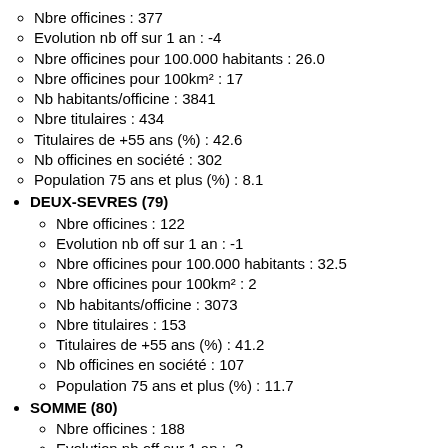Nbre officines : 377
Evolution nb off sur 1 an : -4
Nbre officines pour 100.000 habitants : 26.0
Nbre officines pour 100km² : 17
Nb habitants/officine : 3841
Nbre titulaires : 434
Titulaires de +55 ans (%) : 42.6
Nb officines en société : 302
Population 75 ans et plus (%) : 8.1
DEUX-SEVRES (79)
Nbre officines : 122
Evolution nb off sur 1 an : -1
Nbre officines pour 100.000 habitants : 32.5
Nbre officines pour 100km² : 2
Nb habitants/officine : 3073
Nbre titulaires : 153
Titulaires de +55 ans (%) : 41.2
Nb officines en société : 107
Population 75 ans et plus (%) : 11.7
SOMME (80)
Nbre officines : 188
Evolution nb off sur 1 an : -3
Nbre officines pour 100.000 habitants : 33.0
Nbre officines pour 100km² : 3
Nb habitants/officine : 3035